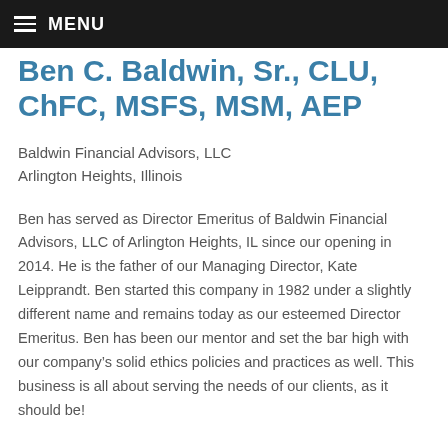MENU
Ben C. Baldwin, Sr., CLU, ChFC, MSFS, MSM, AEP
Baldwin Financial Advisors, LLC
Arlington Heights, Illinois
Ben has served as Director Emeritus of Baldwin Financial Advisors, LLC of Arlington Heights, IL since our opening in 2014. He is the father of our Managing Director, Kate Leipprandt. Ben started this company in 1982 under a slightly different name and remains today as our esteemed Director Emeritus. Ben has been our mentor and set the bar high with our company’s solid ethics policies and practices as well. This business is all about serving the needs of our clients, as it should be!